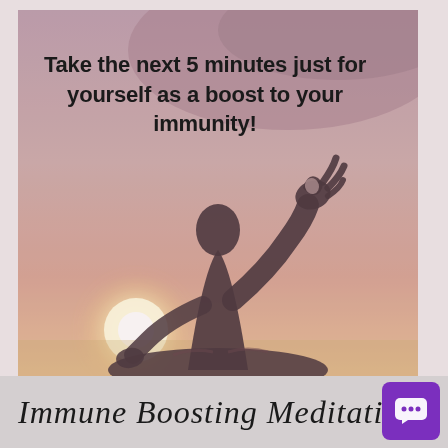[Figure (photo): A silhouette of a person in meditation pose with fingers in mudra gesture, against a warm sunset background with soft pink and orange hues. The figure sits cross-legged with one hand raised showing the classic meditation hand gesture.]
Take the next 5 minutes just for yourself as a boost to your immunity!
Immune Boosting Meditation